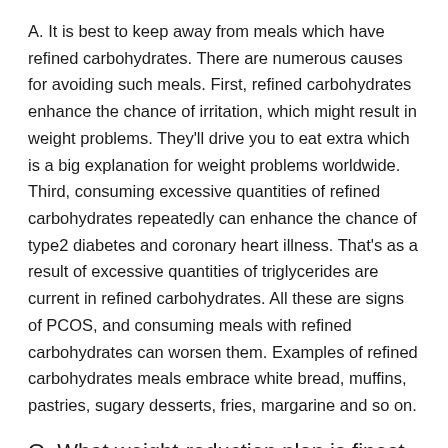A. It is best to keep away from meals which have refined carbohydrates. There are numerous causes for avoiding such meals. First, refined carbohydrates enhance the chance of irritation, which might result in weight problems. They'll drive you to eat extra which is a big explanation for weight problems worldwide. Third, consuming excessive quantities of refined carbohydrates repeatedly can enhance the chance of type2 diabetes and coronary heart illness. That's as a result of excessive quantities of triglycerides are current in refined carbohydrates. All these are signs of PCOS, and consuming meals with refined carbohydrates can worsen them. Examples of refined carbohydrates meals embrace white bread, muffins, pastries, sugary desserts, fries, margarine and so on.
Q. What weight-reduction plan is finest for PCOS?